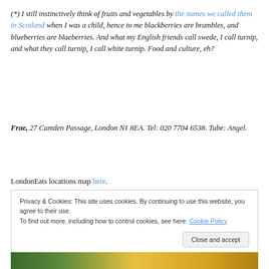(*) I still instinctively think of fruits and vegetables by the names we called them in Scotland when I was a child, hence to me blackberries are brambles, and blueberries are blaeberries. And what my English friends call swede, I call turnip, and what they call turnip, I call white turnip. Food and culture, eh?
Frae, 27 Camden Passage, London N1 8EA. Tel: 020 7704 6538. Tube: Angel.
LondonEats locations map here.
Privacy & Cookies: This site uses cookies. By continuing to use this website, you agree to their use.
To find out more, including how to control cookies, see here: Cookie Policy
[Figure (photo): Partial image strip at the bottom showing green and yellow/orange colors, likely food photography]